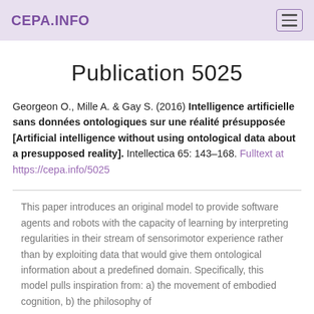CEPA.INFO
Publication 5025
Georgeon O., Mille A. & Gay S. (2016) Intelligence artificielle sans données ontologiques sur une réalité présupposée [Artificial intelligence without using ontological data about a presupposed reality]. Intellectica 65: 143–168. Fulltext at https://cepa.info/5025
This paper introduces an original model to provide software agents and robots with the capacity of learning by interpreting regularities in their stream of sensorimotor experience rather than by exploiting data that would give them ontological information about a predefined domain. Specifically, this model pulls inspiration from: a) the movement of embodied cognition, b) the philosophy of